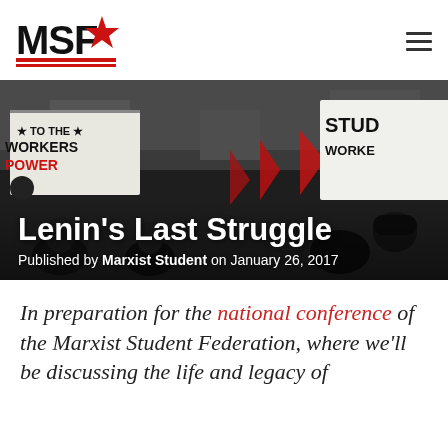MSF logo and navigation
[Figure (photo): Crowd of protesters holding signs including 'POWER TO THE WORKERS' and 'STUDENTS WORKERS' at a demonstration. Dark/moody photo with red flags visible.]
Lenin’s Last Struggle
Published by Marxist Student on January 26, 2017
In preparation for the national conference of the Marxist Student Federation, where we’ll be discussing the life and legacy of